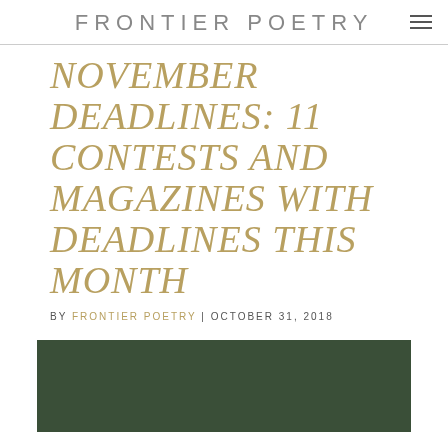FRONTIER POETRY
NOVEMBER DEADLINES: 11 CONTESTS AND MAGAZINES WITH DEADLINES THIS MONTH
BY FRONTIER POETRY | OCTOBER 31, 2018
[Figure (photo): Dark olive/forest green background image, bottom portion of the page]